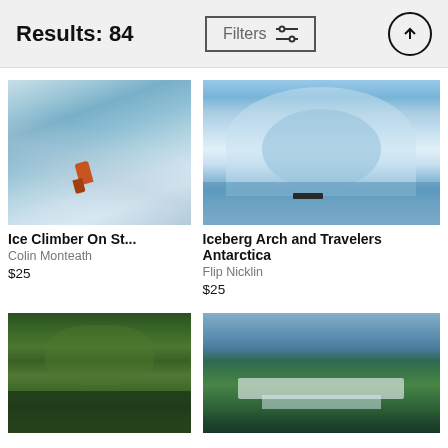Results: 84
Filters
[Figure (photo): Ice climber in orange gear scaling an icy cliff face]
Ice Climber On St...
Colin Monteath
$25
[Figure (photo): Iceberg arch with small boat of travelers in Antarctica blue waters]
Iceberg Arch and Travelers Antarctica
Flip Nicklin
$25
[Figure (photo): Lush green tropical forest with water reflection]
[Figure (photo): Aerial view of large waterfall system surrounded by green forest]